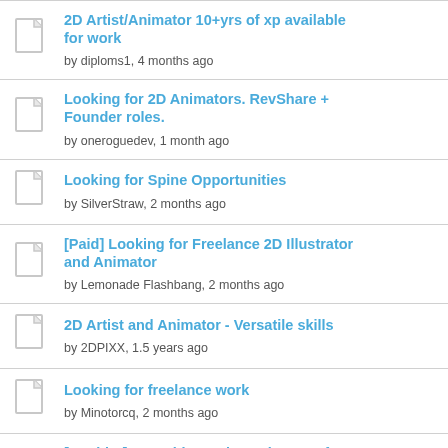2D Artist/Animator 10+yrs of xp available for work
by diploms1, 4 months ago
Looking for 2D Animators. RevShare + Founder roles.
by oneroguedev, 1 month ago
Looking for Spine Opportunities
by SilverStraw, 2 months ago
[Paid] Looking for Freelance 2D Illustrator and Animator
by Lemonade Flashbang, 2 months ago
2D Artist and Animator - Versatile skills
by 2DPIXX, 1.5 years ago
Looking for freelance work
by Minotorcq, 2 months ago
[For hire] Recruiting Spine animators for vertical slice
by InvertMouse, 2 months ago